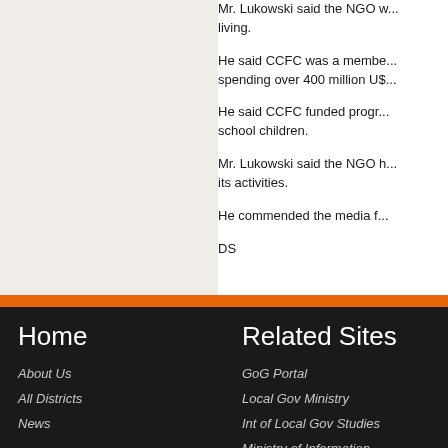Mr. Lukowski said the NGO w... living.
He said CCFC was a membe... spending over 400 million US...
He said CCFC funded progr... school children.
Mr. Lukowski said the NGO h... its activities.
He commended the media f...
DS
Home | About Us | All Districts | News | Related Sites | GoG Portal | Local Gov Ministry | Int of Local Gov Studies | Ministry of Information